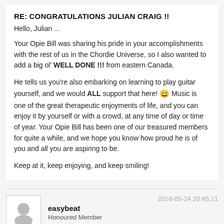RE: CONGRATULATIONS JULIAN CRAIG !!
Hello, Julian ...
Your Opie Bill was sharing his pride in your accomplishments with the rest of us in the Chordie Universe, so I also wanted to add a big ol' WELL DONE !!! from eastern Canada.
He tells us you're also embarking on learning to play guitar yourself, and we would ALL support that here! 😄 Music is one of the great therapeutic enjoyments of life, and you can enjoy it by yourself or with a crowd, at any time of day or time of year. Your Opie Bill has been one of our treasured members for quite a while, and we hope you know how proud he is of you and all you are aspiring to be.
Keep at it, keep enjoying, and keep smiling!
2018-05-24 20:45:11
easybeat
Honoured Member
Offline